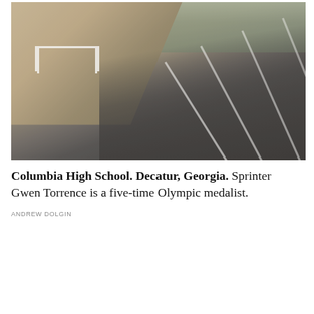[Figure (photo): Outdoor athletic track with white lane lines curving to the right. A soccer/football goal with white posts stands on the dirt/grass field to the left. Trees are visible in the background. The photo has a muted, overcast tone.]
Columbia High School. Decatur, Georgia. Sprinter Gwen Torrence is a five-time Olympic medalist.
ANDREW DOLGIN